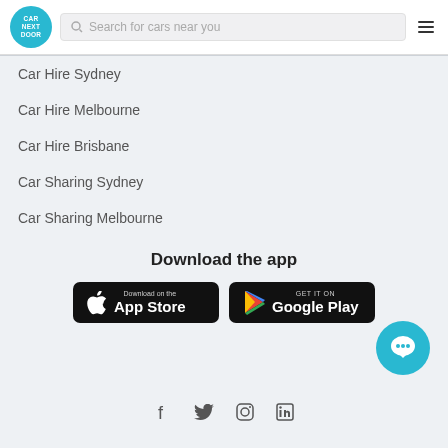[Figure (logo): Car Next Door logo - teal circle with white text]
Search for cars near you
Car Hire Sydney
Car Hire Melbourne
Car Hire Brisbane
Car Sharing Sydney
Car Sharing Melbourne
Download the app
[Figure (screenshot): App Store download button - black rounded rectangle with Apple logo and text 'Download on the App Store']
[Figure (screenshot): Google Play download button - black rounded rectangle with Play logo and text 'GET IT ON Google Play']
[Figure (other): Social media icons: Facebook, Twitter, Instagram, LinkedIn]